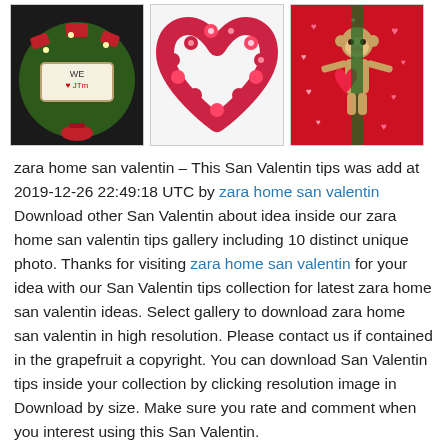[Figure (photo): Three Valentine's Day themed photos in a row: a wreath with 'We Love You' sign, a heart-shaped wreath, and a red door decoration with a cartoon monkey holding hearts.]
zara home san valentin – This San Valentin tips was add at 2019-12-26 22:49:18 UTC by zara home san valentin Download other San Valentin about idea inside our zara home san valentin tips gallery including 10 distinct unique photo. Thanks for visiting zara home san valentin for your idea with our San Valentin tips collection for latest zara home san valentin ideas. Select gallery to download zara home san valentin in high resolution. Please contact us if contained in the grapefruit a copyright. You can download San Valentin tips inside your collection by clicking resolution image in Download by size. Make sure you rate and comment when you interest using this San Valentin.
zara home 2019 | banner | Decoraciones